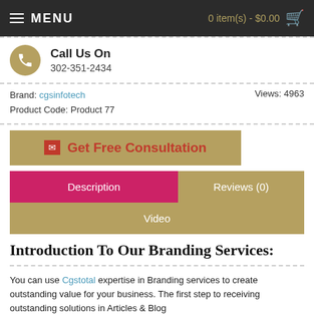MENU   0 item(s) - $0.00
Call Us On
302-351-2434
Brand: cgsinfotech   Views: 4963
Product Code: Product 77
✉ Get Free Consultation
Description   Reviews (0)   Video
Introduction To Our Branding Services:
You can use Cgstotal expertise in Branding services to create outstanding value for your business. The first step to receiving outstanding solutions in Articles & Blog